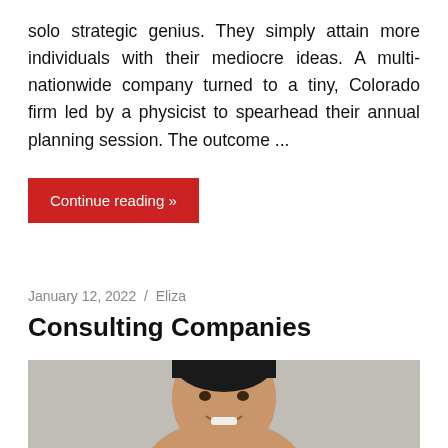solo strategic genius. They simply attain more individuals with their mediocre ideas. A multi-nationwide company turned to a tiny, Colorado firm led by a physicist to spearhead their annual planning session. The outcome ...
Continue reading »
January 12, 2022 / Eliza
Consulting Companies
[Figure (photo): Headshot of a smiling man with dark hair against a light gray background]